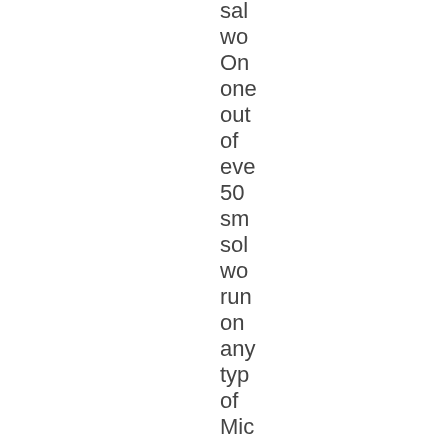sal
wo
On
one
out
of
eve
50
sm
sol
wo
run
on
any
typ
of
Mic